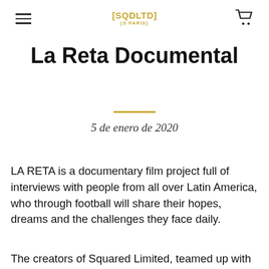[SQDLTD] [S PARIS]
La Reta Documental
5 de enero de 2020
LA RETA is a documentary film project full of interviews with people from all over Latin America, who through football will share their hopes, dreams and the challenges they face daily.
The creators of Squared Limited, teamed up with the